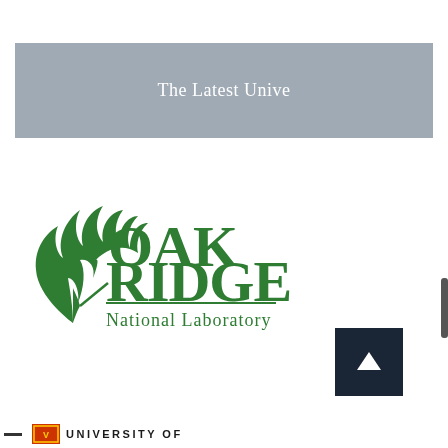[Figure (other): Grey banner with white text reading 'The Latest Unive' (partially visible/cropped)]
[Figure (logo): Oak Ridge National Laboratory logo with green oak leaf and green text 'OAK RIDGE National Laboratory']
[Figure (other): Dark navy blue square button with white upward arrow (scroll to top button)]
[Figure (logo): Partial bottom bar showing a small red/gold university logo and text 'UNIVERSITY OF' in bold spaced uppercase letters]